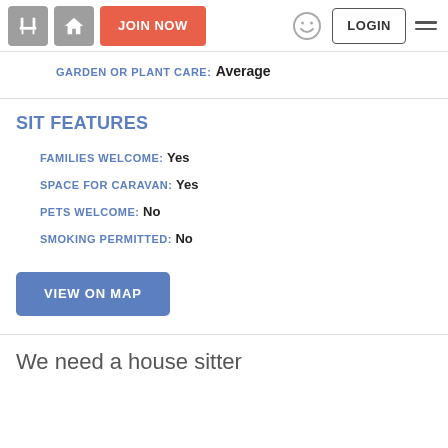JOIN NOW | LOGIN
GARDEN OR PLANT CARE: Average
SIT FEATURES
FAMILIES WELCOME: Yes
SPACE FOR CARAVAN: Yes
PETS WELCOME: No
SMOKING PERMITTED: No
VIEW ON MAP
We need a house sitter